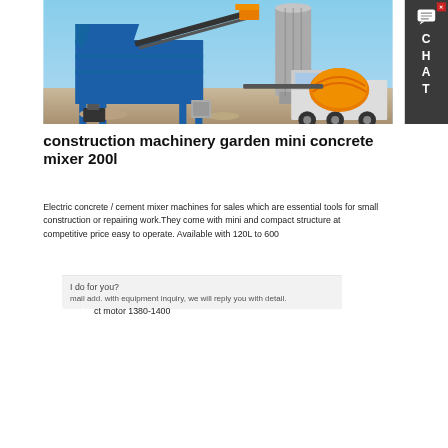[Figure (photo): Concrete batching plant with blue steel frame structure and conveyor belt on the left, an orange concrete mixer drum mounted on a white truck on the right, and a large cylindrical cement silo in the background. Blue sky visible. Industrial construction site setting.]
construction machinery garden mini concrete mixer 200l
Electric concrete / cement mixer machines for sales which are essential tools for small construction or repairing work.They come with mini and compact structure at competitive price easy to operate. Available with 120L to 600
I do for you?
mail add. with equipment inquiry, we will reply you with detail.
motor 1380-1400